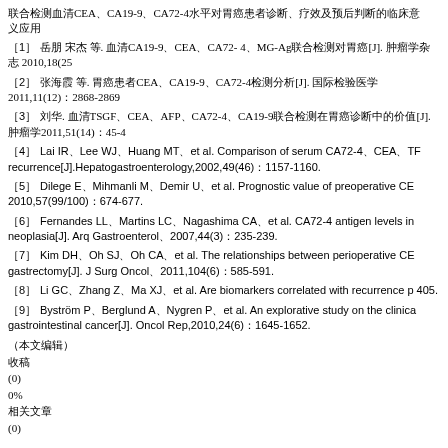联合检测血清CEA、CA19-9、CA72-4水平对胃癌患者诊断、疗效及预后判断的临床意义
[1] 岳朋 宋杰 等. 血清CA19-9、CEA、CA72-4、MG-Ag联合检测对胃癌[J]. 肿瘤学杂志 2010,18(25)
[2] 张海霞 等. 胃癌患者CEA、CA19-9、CA72-4检测分析[J]. 国际检验医学2011,11(12)：2868-2869
[3] 刘华. 血清TSGF、CEA、AFP、CA72-4、CA19-9联合检测在胃癌诊断中的价值[J]. 肿瘤学2011,51(14)：45-4
[4] Lai IR、Lee WJ、Huang MT、et al. Comparison of serum CA72-4、CEA、TF recurrence[J].Hepatogastroenterology,2002,49(46)：1157-1160.
[5] Dilege E、Mihmanli M、Demir U、et al. Prognostic value of preoperative CE 2010,57(99/100)：674-677.
[6] Fernandes LL、Martins LC、Nagashima CA、et al. CA72-4 antigen levels in neoplasia[J]. Arq Gastroenterol、2007,44(3)：235-239.
[7] Kim DH、Oh SJ、Oh CA、et al. The relationships between perioperative CE gastrectomy[J]. J Surg Oncol、2011,104(6)：585-591.
[8] Li GC、Zhang Z、Ma XJ、et al. Are biomarkers correlated with recurrence p 405.
[9] Byström P、Berglund A、Nygren P、et al. An explorative study on the clinica gastrointestinal cancer[J]. Oncol Rep,2010,24(6)：1645-1652.
(本文编辑)
收稿日期
(0)
0%
相关文章
(0)